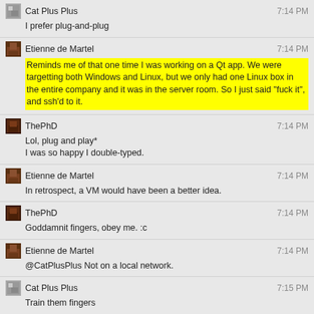Cat Plus Plus | 7:14 PM
I prefer plug-and-plug
Etienne de Martel | 7:14 PM
Reminds me of that one time I was working on a Qt app. We were targetting both Windows and Linux, but we only had one Linux box in the entire company and it was in the server room. So I just said "fuck it", and ssh'd to it.
ThePhD | 7:14 PM
Lol, plug and play*
I was so happy I double-typed.
Etienne de Martel | 7:14 PM
In retrospect, a VM would have been a better idea.
ThePhD | 7:14 PM
Goddamnit fingers, obey me. :c
Etienne de Martel | 7:14 PM
@CatPlusPlus Not on a local network.
Cat Plus Plus | 7:15 PM
Train them fingers
ThePhD | 7:15 PM
Hah, fuck XInput and DInput
Cicada | 7:15 PM